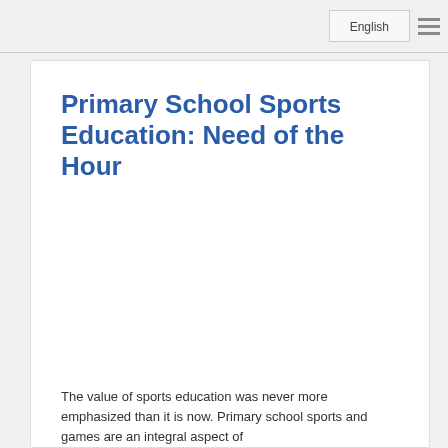English ☰
Primary School Sports Education: Need of the Hour
The value of sports education was never more emphasized than it is now. Primary school sports and games are an integral aspect of